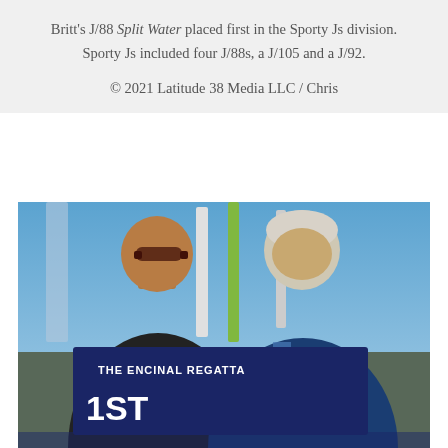Britt's J/88 Split Water placed first in the Sporty Js division. Sporty Js included four J/88s, a J/105 and a J/92.

© 2021 Latitude 38 Media LLC / Chris
[Figure (photo): Two men smiling and holding a navy blue pennant/burgee banner that reads 'THE ENCINAL REGATTA 1ST', with sailboat masts visible in the background against a blue sky.]